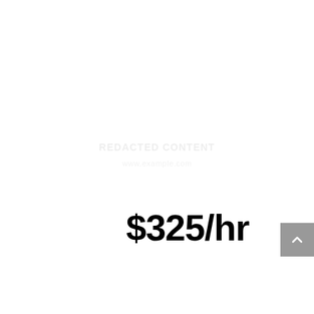[Figure (other): Faint watermark or redacted logo/text in the center-upper area of the page]
$325/hr